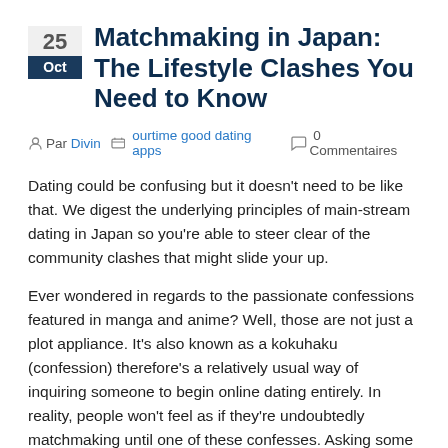Matchmaking in Japan: The Lifestyle Clashes You Need to Know
Par Divin   ourtime good dating apps   0 Commentaires
Dating could be confusing but it doesn't need to be like that. We digest the underlying principles of main-stream dating in Japan so you're able to steer clear of the community clashes that might slide your up.
Ever wondered in regards to the passionate confessions featured in manga and anime? Well, those are not just a plot appliance. It's also known as a kokuhaku (confession) therefore's a relatively usual way of inquiring someone to begin online dating entirely. In reality, people won't feel as if they're undoubtedly matchmaking until one of these confesses. Asking some body on a romantic date is not necessarily the same as confessing your passionate objectives. As soon as you admit, it means you are informing the person you need to date entirely. Some people can even getting